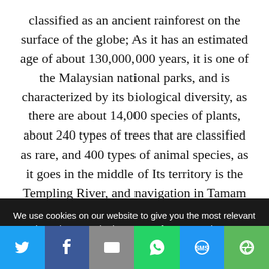classified as an ancient rainforest on the surface of the globe; As it has an estimated age of about 130,000,000 years, it is one of the Malaysian national parks, and is characterized by its biological diversity, as there are about 14,000 species of plants, about 240 types of trees that are classified as rare, and 400 types of animal species, as it goes in the middle of Its territory is the Templing River, and navigation in Tamam
We use cookies on our website to give you the most relevant experience by remembering your preferences and repeat visits. By clicking “Accept”, you consent to the use of ALL the cookies.
Do not sell my personal information.